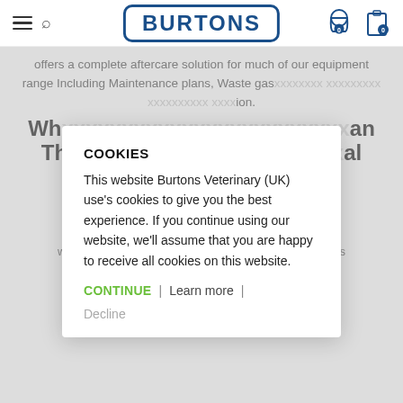BURTONS — navigation bar with hamburger menu, search icon, logo, cart and clipboard icons
offers a complete aftercare solution for much of our equipment range Including Maintenance plans, Waste gas management equipment repair, calibration.
Why Use Our Equipment Care Plan The Right Treatment is Vital to Your Equipment
Plans are best defined from the millions currently used to agree in practice to manage wherever less routine maintenance is carried out.
COOKIES
This website Burtons Veterinary (UK) use's cookies to give you the best experience. If you continue using our website, we'll assume that you are happy to receive all cookies on this website.
CONTINUE | Learn more | Decline